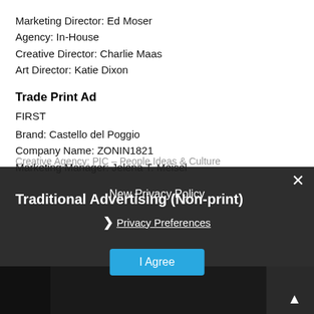Marketing Director: Ed Moser
Agency: In-House
Creative Director: Charlie Maas
Art Director: Katie Dixon
Trade Print Ad
FIRST
Brand: Castello del Poggio
Company Name: ZONIN1821
Marketing Manager: Jelena T. Meisel
Creative Agency: PIC – People Ideas & Culture
Traditional Advertising (Non-print)
New Privacy Policy
Privacy Preferences
I Agree